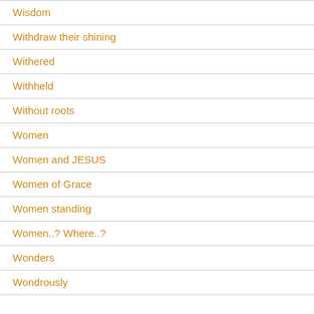Wisdom
Withdraw their shining
Withered
Withheld
Without roots
Women
Women and JESUS
Women of Grace
Women standing
Women..? Where..?
Wonders
Wondrously